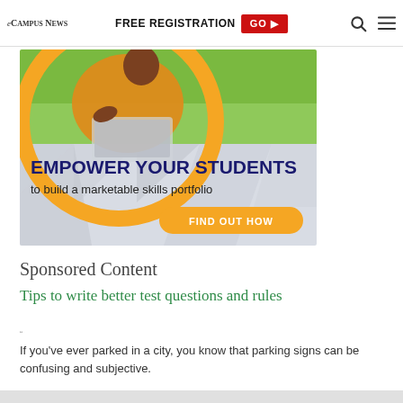eCampus News | FREE REGISTRATION GO ▶
[Figure (illustration): Advertisement banner: person in yellow/orange top working on laptop outdoors, with orange circle frame and geometric gray background. Text: EMPOWER YOUR STUDENTS to build a marketable skills portfolio. FIND OUT HOW button.]
Sponsored Content
Tips to write better test questions and rules
”
If you've ever parked in a city, you know that parking signs can be confusing and subjective.